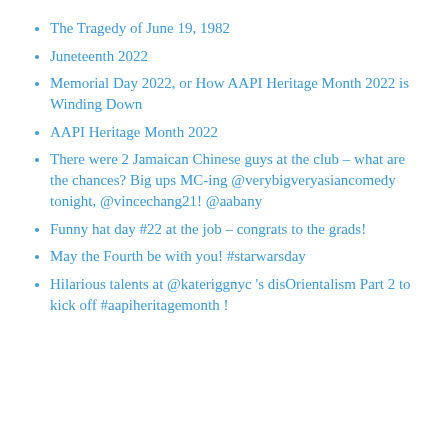The Tragedy of June 19, 1982
Juneteenth 2022
Memorial Day 2022, or How AAPI Heritage Month 2022 is Winding Down
AAPI Heritage Month 2022
There were 2 Jamaican Chinese guys at the club – what are the chances? Big ups MC-ing @verybigveryasiancomedy tonight, @vincechang21! @aabany
Funny hat day #22 at the job – congrats to the grads!
May the Fourth be with you! #starwarsday
Hilarious talents at @kateriggnyc 's disOrientalism Part 2 to kick off #aapiheritagemonth !